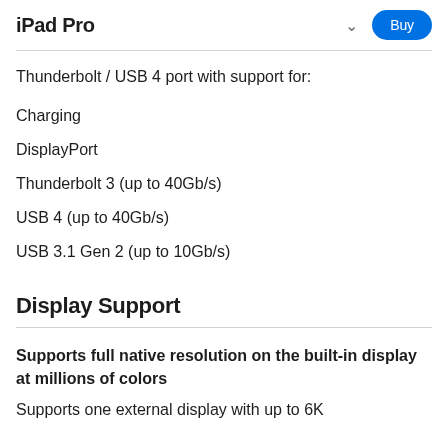iPad Pro
Thunderbolt / USB 4 port with support for:
Charging
DisplayPort
Thunderbolt 3 (up to 40Gb/s)
USB 4 (up to 40Gb/s)
USB 3.1 Gen 2 (up to 10Gb/s)
Display Support
Supports full native resolution on the built-in display at millions of colors
Supports one external display with up to 6K